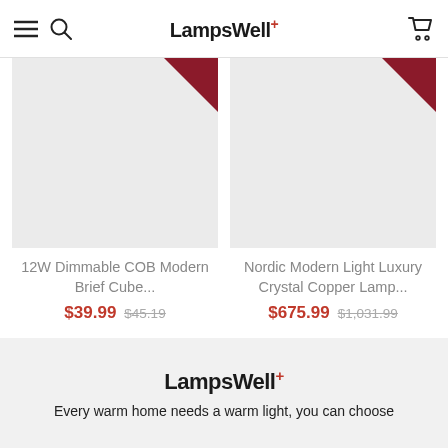LampsWell+
[Figure (photo): Product image placeholder for 12W Dimmable COB Modern Brief Cube lamp with sale ribbon in top-right corner]
12W Dimmable COB Modern Brief Cube...
$39.99  $45.19
[Figure (photo): Product image placeholder for Nordic Modern Light Luxury Crystal Copper Lamp with sale ribbon in top-right corner]
Nordic Modern Light Luxury Crystal Copper Lamp...
$675.99  $1,031.99
LampsWell+ Every warm home needs a warm light, you can choose